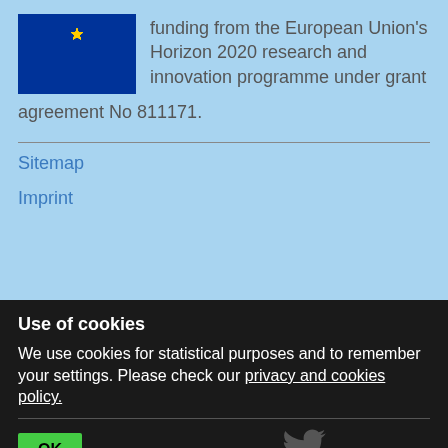[Figure (logo): European Union flag with blue background and circle of yellow stars]
funding from the European Union's Horizon 2020 research and innovation programme under grant agreement No 811171.
Sitemap
Imprint
Use of cookies
We use cookies for statistical purposes and to remember your settings. Please check our privacy and cookies policy.